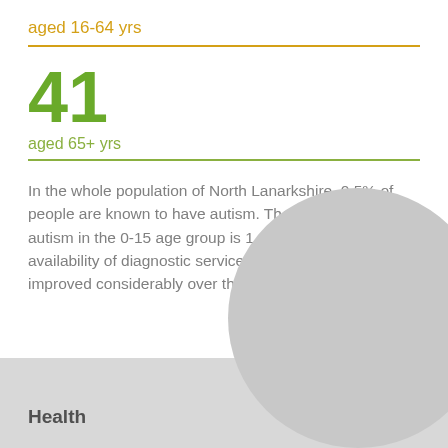aged 16-64 yrs
41
aged 65+ yrs
In the whole population of North Lanarkshire, 0.5% of people are known to have autism. The prevalence of autism in the 0-15 age group is 1.6%. This reflects availability of diagnostic services for autism, which have improved considerably over the last two decades.
Health